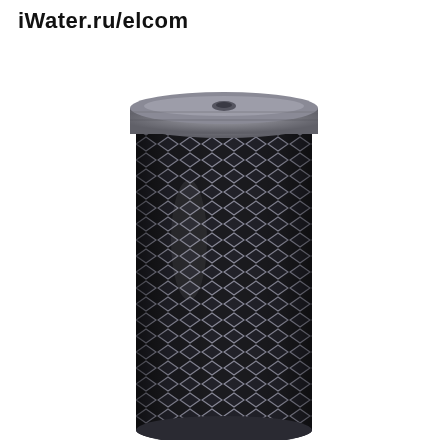iWater.ru/elcom
[Figure (photo): A cylindrical carbon water filter cartridge with dark mesh/expanded metal outer casing and gray plastic end cap on top, shown vertically on white background.]